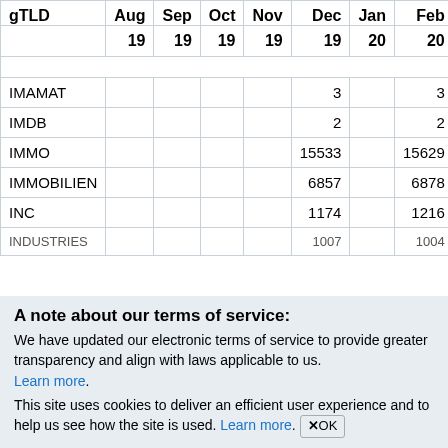| gTLD | Aug 19 | Sep 19 | Oct 19 | Nov 19 | Dec 19 | Jan 20 | Feb 20 | Mar 20 | A… |
| --- | --- | --- | --- | --- | --- | --- | --- | --- | --- |
| IMAMAT |  |  |  |  | 3 |  | 3 |  | 3 |
| IMDB |  |  |  |  | 2 |  | 2 |  | 2 |
| IMMO |  |  |  |  | 15533 |  | 15629 |  | 15731 |
| IMMOBILIEN |  |  |  |  | 6857 |  | 6878 |  | 6850 |
| INC |  |  |  |  | 1174 |  | 1216 |  | 1293 |
| INDUSTRIES |  |  |  |  | 1007 |  | 1004 |  | 1140 |
A note about our terms of service:
We have updated our electronic terms of service to provide greater transparency and align with laws applicable to us. Learn more.
This site uses cookies to deliver an efficient user experience and to help us see how the site is used. Learn more. ✕OK